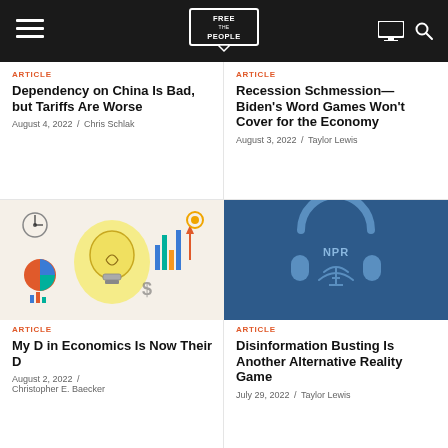Free the People
ARTICLE
Dependency on China Is Bad, but Tariffs Are Worse
August 4, 2022 / Chris Schlak
ARTICLE
Recession Schmession—Biden's Word Games Won't Cover for the Economy
August 3, 2022 / Taylor Lewis
[Figure (illustration): Colorful illustration of a lightbulb surrounded by business and economics icons: charts, gears, graphs, money symbols]
[Figure (illustration): Dark blue background with NPR headphones and radio tower logo illustration]
ARTICLE
My D in Economics Is Now Their D
August 2, 2022 / Christopher E. Baecker
ARTICLE
Disinformation Busting Is Another Alternative Reality Game
July 29, 2022 / Taylor Lewis